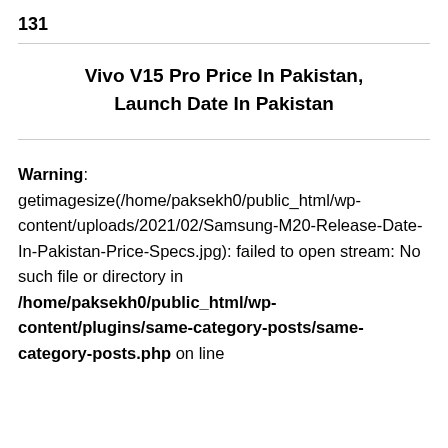131
Vivo V15 Pro Price In Pakistan, Launch Date In Pakistan
Warning: getimagesize(/home/paksekh0/public_html/wp-content/uploads/2021/02/Samsung-M20-Release-Date-In-Pakistan-Price-Specs.jpg): failed to open stream: No such file or directory in /home/paksekh0/public_html/wp-content/plugins/same-category-posts/same-category-posts.php on line